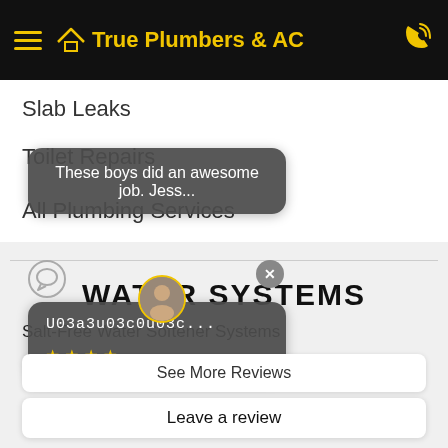True Plumbers & AC
Slab Leaks
Toilet Repairs
All Plumbing Services
WATER SYSTEMS
Salt-Free Water Softener Systems
Under-Sink Water Filtration Systems
These boys did an awesome job. Jess...
U03a3u03c0u03c...
See More Reviews
Leave a review